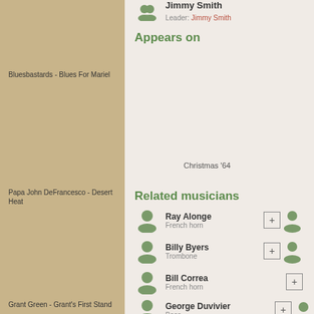Jimmy Smith
Leader: Jimmy Smith
Appears on
Christmas '64
Related musicians
Ray Alonge
French horn
Billy Byers
Trombone
Bill Correa
French horn
George Duvivier
Bass
Thad Jones
Trumpet
Bluesbastards - Blues For Mariel
Papa John DeFrancesco - Desert Heat
Grant Green - Grant's First Stand